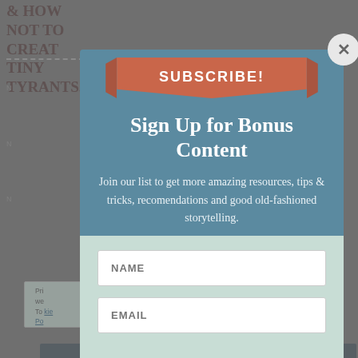& HOW NOT TO CREATE TINY TYRANTS.
[Figure (screenshot): Website subscription popup modal with teal/blue background. Contains a salmon/coral ribbon banner with 'SUBSCRIBE!' text, heading 'Sign Up for Bonus Content', body text 'Join our list to get more amazing resources, tips & tricks, recomendations and good old-fashioned storytelling.', and a form with NAME and EMAIL input fields. A close (X) button appears in top right corner.]
Join our list to get more amazing resources, tips & tricks, recomendations and good old-fashioned storytelling.
NAME
EMAIL